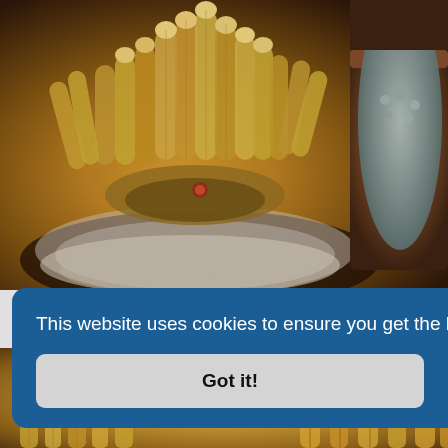[Figure (photo): Close-up photo of a columnar cactus with many finger-like growths (likely Echinopsis or similar species) growing from a rocky base, with a potted grey-green succulent plant visible in the upper right corner.]
This website uses cookies to ensure you get the best experience on our website.  Learn more
Got it!
[Figure (photo): Partial view of cactus plants at the bottom of the page, showing yellow-golden and textured cacti.]